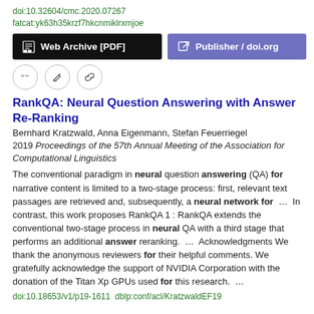doi:10.32604/cmc.2020.07267
fatcat:yk63h35krzf7hkcnmiklrxmjoe
[Figure (screenshot): Two buttons: 'Web Archive [PDF]' (black background) and 'Publisher / doi.org' (purple background)]
[Figure (screenshot): Three icon buttons in circles: quote, edit, and link icons]
RankQA: Neural Question Answering with Answer Re-Ranking
Bernhard Kratzwald, Anna Eigenmann, Stefan Feuerriegel
2019 Proceedings of the 57th Annual Meeting of the Association for Computational Linguistics
The conventional paradigm in neural question answering (QA) for narrative content is limited to a two-stage process: first, relevant text passages are retrieved and, subsequently, a neural network for ...  In contrast, this work proposes RankQA 1 : RankQA extends the conventional two-stage process in neural QA with a third stage that performs an additional answer reranking.  ...  Acknowledgments We thank the anonymous reviewers for their helpful comments. We gratefully acknowledge the support of NVIDIA Corporation with the donation of the Titan Xp GPUs used for this research.  ...
doi:10.18653/v1/p19-1611  dblp:conf/acl/KratzwaldEF19